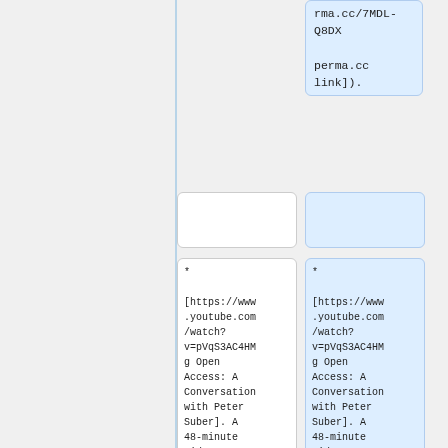rma.cc/7MDL-Q8DX perma.cc link]).
* [https://www.youtube.com/watch?v=pVqS3AC4HMg Open Access: A Conversation with Peter Suber]. A 48-minute video interview with me by Sue Erickson.
* [https://www.youtube.com/watch?v=pVqS3AC4HMg Open Access: A Conversation with Peter Suber]. A 48-minute video interview with me by Sue Erickson.